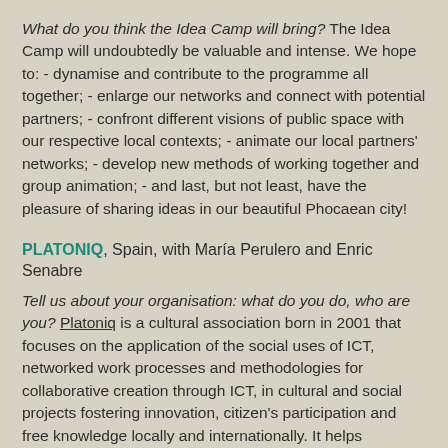What do you think the Idea Camp will bring? The Idea Camp will undoubtedly be valuable and intense. We hope to: - dynamise and contribute to the programme all together; - enlarge our networks and connect with potential partners; - confront different visions of public space with our respective local contexts; - animate our local partners' networks; - develop new methods of working together and group animation; - and last, but not least, have the pleasure of sharing ideas in our beautiful Phocaean city!
PLATONIQ, Spain, with María Perulero and Enric Senabre
Tell us about your organisation: what do you do, who are you? Platoniq is a cultural association born in 2001 that focuses on the application of the social uses of ICT, networked work processes and methodologies for collaborative creation through ICT, in cultural and social projects fostering innovation, citizen's participation and free knowledge locally and internationally. It helps communites and projects conected with media activism, ecology, urban transformation and communal action with its platform Goteo.org in order to share their knowledge with society, find